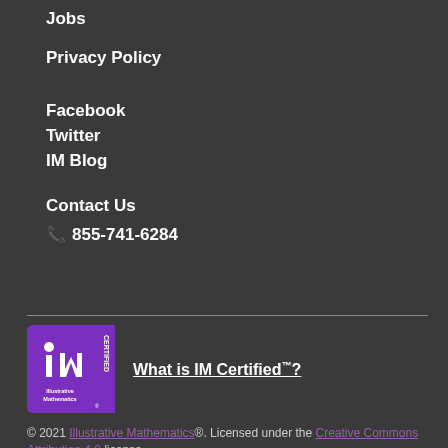Jobs
Privacy Policy
Facebook
Twitter
IM Blog
Contact Us
855-741-6284
[Figure (logo): Illustrative Mathematics IM Certified logo — purple square with IM mark and CERTIFIED text on the side]
What is IM Certified™?
© 2021 Illustrative Mathematics®. Licensed under the Creative Commons Attribution 4.0 license.